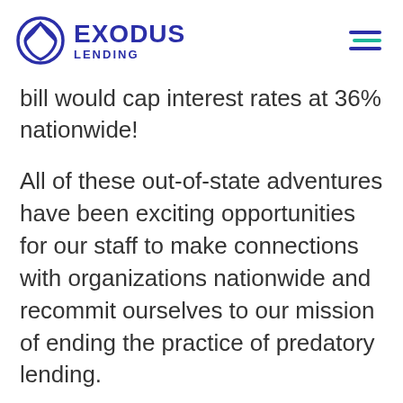EXODUS LENDING
bill would cap interest rates at 36% nationwide!
All of these out-of-state adventures have been exciting opportunities for our staff to make connections with organizations nationwide and recommit ourselves to our mission of ending the practice of predatory lending.